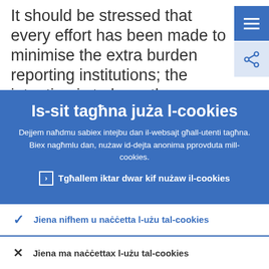It should be stressed that every effort has been made to minimise the extra burden reporting institutions; the intention is to keep these reporting requirements stable
Is-sit tagħna juża l-cookies
Dejjem naħdmu sabiex intejbu dan il-websajt għall-utenti tagħna. Biex nagħmlu dan, nużaw id-dejta anonima pprovduta mill-cookies.
› Tgħallem iktar dwar kif nużaw il-cookies
✓ Jiena nifhem u naċċetta l-użu tal-cookies
✗ Jiena ma naċċettax l-użu tal-cookies